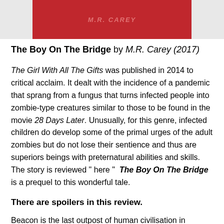[Figure (photo): Book cover image partially visible: red background with partial text, set against a light grey background on the left and right sides.]
The Boy On The Bridge by M.R. Carey (2017)
The Girl With All The Gifts was published in 2014 to critical acclaim. It dealt with the incidence of a pandemic that sprang from a fungus that turns infected people into zombie-type creatures similar to those to be found in the movie 28 Days Later. Unusually, for this genre, infected children do develop some of the primal urges of the adult zombies but do not lose their sentience and thus are superiors beings with preternatural abilities and skills. The story is reviewed " here "  The Boy On The Bridge is a prequel to this wonderful tale.
There are spoilers in this review.
Beacon is the last outpost of human civilisation in